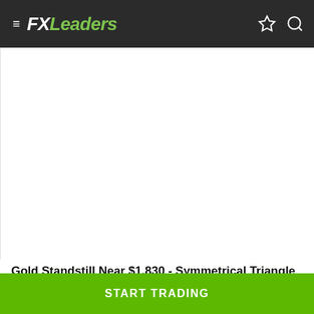FXLeaders
[Figure (other): Large white content area representing an article image placeholder on FXLeaders website]
Gold Standstill Near $1,830 - Symmetrical Triangle in Play
START TRADING